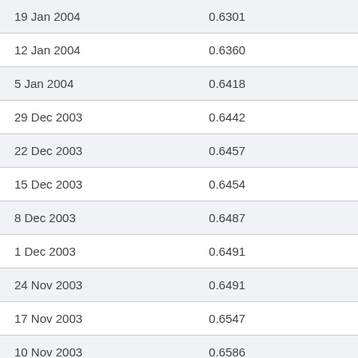| 19 Jan 2004 | 0.6301 |
| 12 Jan 2004 | 0.6360 |
| 5 Jan 2004 | 0.6418 |
| 29 Dec 2003 | 0.6442 |
| 22 Dec 2003 | 0.6457 |
| 15 Dec 2003 | 0.6454 |
| 8 Dec 2003 | 0.6487 |
| 1 Dec 2003 | 0.6491 |
| 24 Nov 2003 | 0.6491 |
| 17 Nov 2003 | 0.6547 |
| 10 Nov 2003 | 0.6586 |
| 3 Nov 2003 | 0.6596 |
| 27 Oct 2003 | 0.6627 |